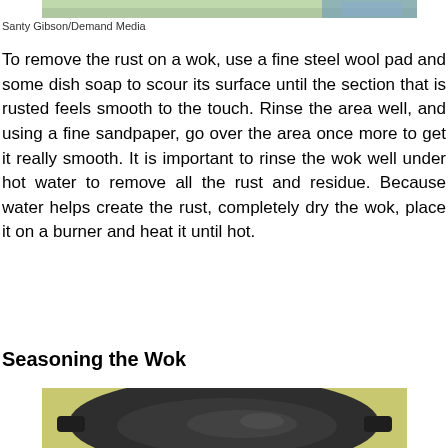[Figure (photo): Partial top image showing colorful background, partially cropped at top of page]
Santy Gibson/Demand Media
To remove the rust on a wok, use a fine steel wool pad and some dish soap to scour its surface until the section that is rusted feels smooth to the touch. Rinse the area well, and using a fine sandpaper, go over the area once more to get it really smooth. It is important to rinse the wok well under hot water to remove all the rust and residue. Because water helps create the rust, completely dry the wok, place it on a burner and heat it until hot.
Seasoning the Wok
[Figure (photo): Photo of a dark seasoned wok viewed from above, showing the interior and two handles, placed on a light colored surface]